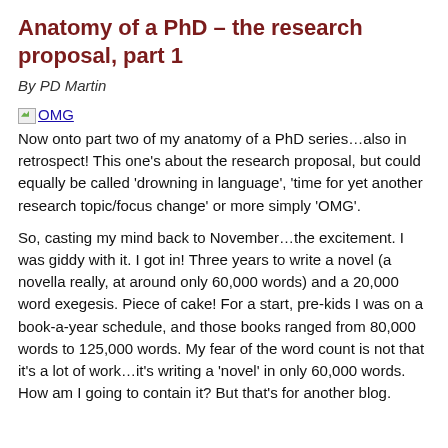Anatomy of a PhD – the research proposal, part 1
By PD Martin
[Figure (illustration): Broken image icon followed by underlined link text 'OMG']
Now onto part two of my anatomy of a PhD series…also in retrospect! This one's about the research proposal, but could equally be called 'drowning in language', 'time for yet another research topic/focus change' or more simply 'OMG'.
So, casting my mind back to November…the excitement. I was giddy with it. I got in! Three years to write a novel (a novella really, at around only 60,000 words) and a 20,000 word exegesis. Piece of cake! For a start, pre-kids I was on a book-a-year schedule, and those books ranged from 80,000 words to 125,000 words. My fear of the word count is not that it's a lot of work…it's writing a 'novel' in only 60,000 words. How am I going to contain it? But that's for another blog.